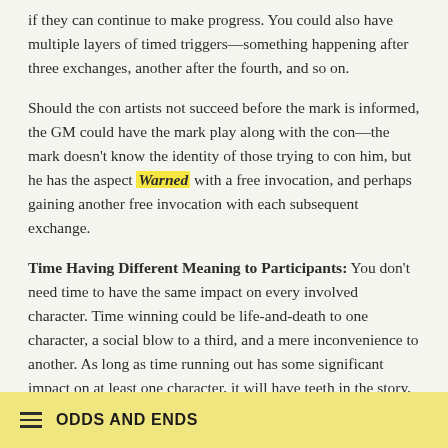if they can continue to make progress. You could also have multiple layers of timed triggers—something happening after three exchanges, another after the fourth, and so on.
Should the con artists not succeed before the mark is informed, the GM could have the mark play along with the con—the mark doesn't know the identity of those trying to con him, but he has the aspect Warned with a free invocation, and perhaps gaining another free invocation with each subsequent exchange.
Time Having Different Meaning to Participants: You don't need time to have the same impact on every involved character. Time winning could be life-and-death to one character, a social blow to a third, and a mere inconvenience to another. As long as time running out has some significant impact on at least one character, it will have teeth in the story, because that character will fight to win against time just as the
ODDS AND ENDS